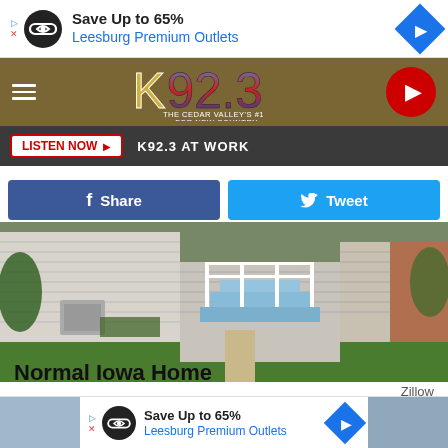[Figure (screenshot): Advertisement banner: Save Up to 65% Leesburg Premium Outlets with infinity logo and navigation icon]
[Figure (screenshot): K92.3 radio station header bar with hamburger menu, logo, and play button]
[Figure (screenshot): Listen Now bar with K92.3 AT WORK text]
[Figure (screenshot): Facebook Share and Twitter Tweet social sharing buttons]
[Figure (photo): Photo of a normal Iowa home exterior with blue steps, white siding, and green lawn]
Zillow
Normal Iowa Home
This house sold for $109,000 on July 1st, 2020.
[Figure (screenshot): Advertisement banner at bottom: Save Up to 65% Leesburg Premium Outlets]